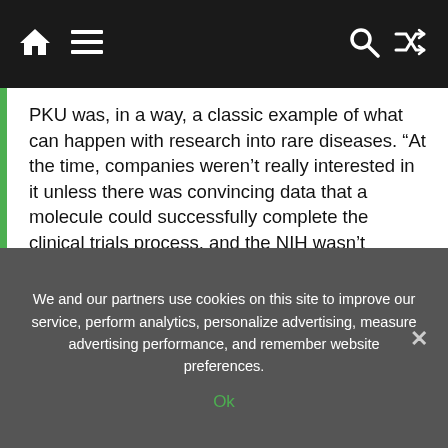Navigation bar with home, menu, search, and shuffle icons
PKU was, in a way, a classic example of what can happen with research into rare diseases. “At the time, companies weren’t really interested in it unless there was convincing data that a molecule could successfully complete the clinical trials process, and the NIH wasn’t particularly interested in it,” Stevens recalls. “What Dick and Ginny Michaux, Alison Reynolds, and Bob and Kathy Piziali did by contributing funds really opened up door for change and making a difference.”
“It was a team effort at every level,” Stevens adds, “from philanthropy to research to drug development,
We and our partners use cookies on this site to improve our service, perform analytics, personalize advertising, measure advertising performance, and remember website preferences.
Ok